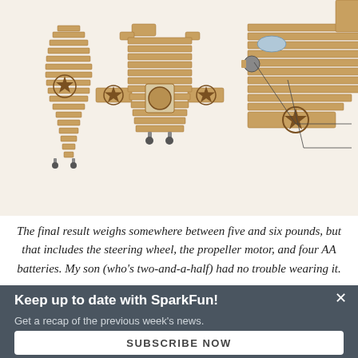[Figure (photo): Three cardboard model airplanes/vehicles with star decals, laser-cut and assembled. Annotations point to propeller details and decals. Text reads: 'Propeller laser cut and mounted to motor with hub and tire from an R/C car' and 'Decals designed in LayOut, printed on glossy photo paper, backed with double-stick tape, and cut out']
The final result weighs somewhere between five and six pounds, but that includes the steering wheel, the propeller motor, and four AA batteries. My son (who's two-and-a-half) had no trouble wearing it.
Keep up to date with SparkFun!
Get a recap of the previous week's news.
SUBSCRIBE NOW